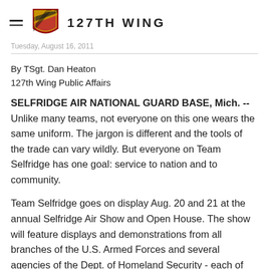127TH WING
By TSgt. Dan Heaton
127th Wing Public Affairs
SELFRIDGE AIR NATIONAL GUARD BASE, Mich. -- Unlike many teams, not everyone on this one wears the same uniform. The jargon is different and the tools of the trade can vary wildly. But everyone on Team Selfridge has one goal: service to nation and to community.
Team Selfridge goes on display Aug. 20 and 21 at the annual Selfridge Air Show and Open House. The show will feature displays and demonstrations from all branches of the U.S. Armed Forces and several agencies of the Dept. of Homeland Security - each of which have a presence at Selfridge Air National Guard Base.